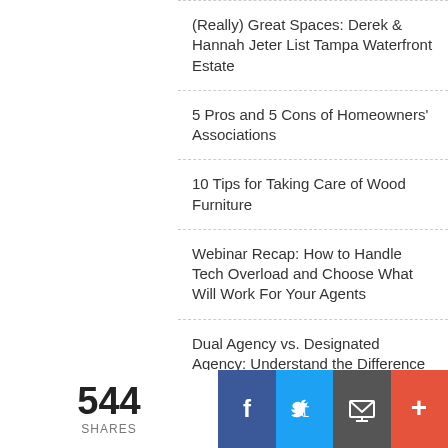(Really) Great Spaces: Derek & Hannah Jeter List Tampa Waterfront Estate
5 Pros and 5 Cons of Homeowners' Associations
10 Tips for Taking Care of Wood Furniture
Webinar Recap: How to Handle Tech Overload and Choose What Will Work For Your Agents
Dual Agency vs. Designated Agency: Understand the Difference
Building a Basement Bathroom on a Budget: 5 Tips to Get You Started
Six IKEA Hacks That Will Transform Your Yard
544 SHARES